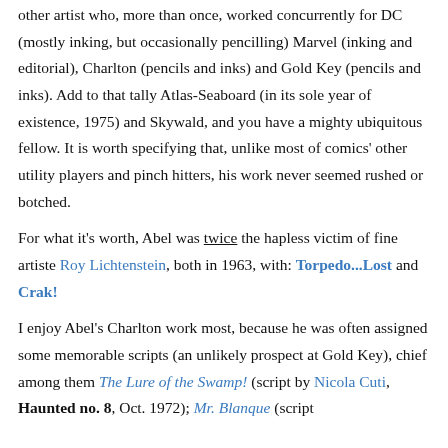other artist who, more than once, worked concurrently for DC (mostly inking, but occasionally pencilling) Marvel (inking and editorial), Charlton (pencils and inks) and Gold Key (pencils and inks). Add to that tally Atlas-Seaboard (in its sole year of existence, 1975) and Skywald, and you have a mighty ubiquitous fellow. It is worth specifying that, unlike most of comics' other utility players and pinch hitters, his work never seemed rushed or botched.
For what it's worth, Abel was twice the hapless victim of fine artiste Roy Lichtenstein, both in 1963, with: Torpedo...Lost and Crak!
I enjoy Abel's Charlton work most, because he was often assigned some memorable scripts (an unlikely prospect at Gold Key), chief among them The Lure of the Swamp! (script by Nicola Cuti, Haunted no. 8, Oct. 1972); Mr. Blanque (script